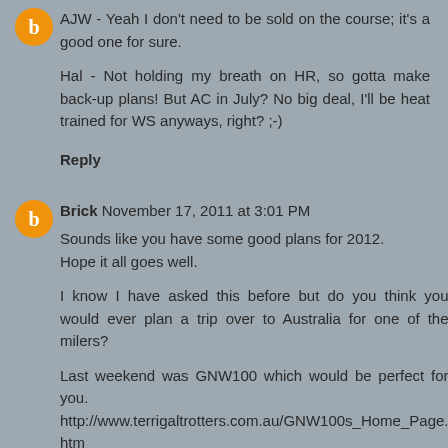AJW - Yeah I don't need to be sold on the course; it's a good one for sure.

Hal - Not holding my breath on HR, so gotta make back-up plans! But AC in July? No big deal, I'll be heat trained for WS anyways, right? ;-)
Reply
Brick November 17, 2011 at 3:01 PM
Sounds like you have some good plans for 2012.
Hope it all goes well.

I know I have asked this before but do you think you would ever plan a trip over to Australia for one of the milers?

Last weekend was GNW100 which would be perfect for you.
http://www.terrigaltrotters.com.au/GNW100s_Home_Page.htm